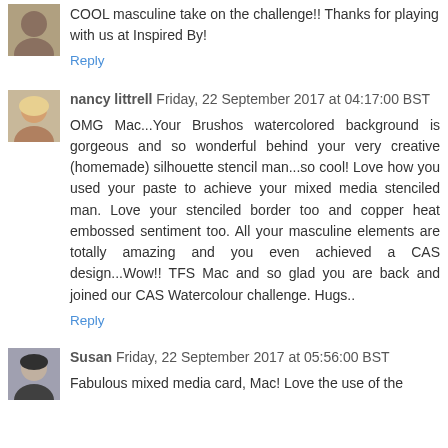COOL masculine take on the challenge!! Thanks for playing with us at Inspired By!
Reply
nancy littrell  Friday, 22 September 2017 at 04:17:00 BST
OMG Mac...Your Brushos watercolored background is gorgeous and so wonderful behind your very creative (homemade) silhouette stencil man...so cool! Love how you used your paste to achieve your mixed media stenciled man. Love your stenciled border too and copper heat embossed sentiment too. All your masculine elements are totally amazing and you even achieved a CAS design...Wow!! TFS Mac and so glad you are back and joined our CAS Watercolour challenge. Hugs..
Reply
Susan  Friday, 22 September 2017 at 05:56:00 BST
Fabulous mixed media card, Mac! Love the use of the